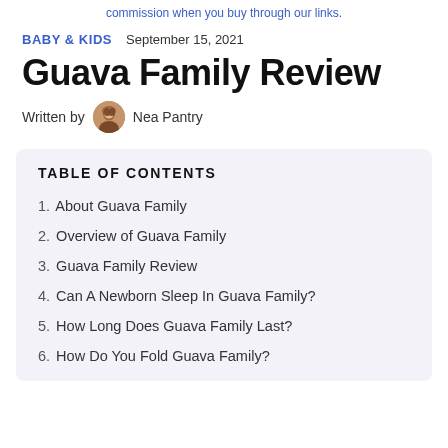commission when you buy through our links.
BABY & KIDS   September 15, 2021
Guava Family Review
Written by  Nea Pantry
TABLE OF CONTENTS
1. About Guava Family
2. Overview of Guava Family
3. Guava Family Review
4. Can A Newborn Sleep In Guava Family?
5. How Long Does Guava Family Last?
6. How Do You Fold Guava Family?